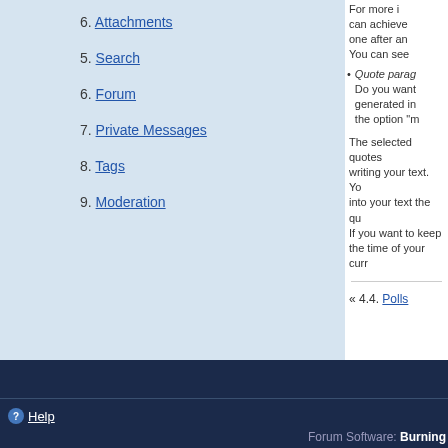6. Attachments
5. Search
6. Forum
7. Private Messages
8. Tags
9. Moderation
For more i... can achieve... one after an... You can see...
Quote parag... Do you want... generated in... the option "m...
The selected quotes... writing your text. Yo... into your text the qu... If you want to keep... the time of your curr...
« 4.4. Polls
Help | Forum Software: Burning